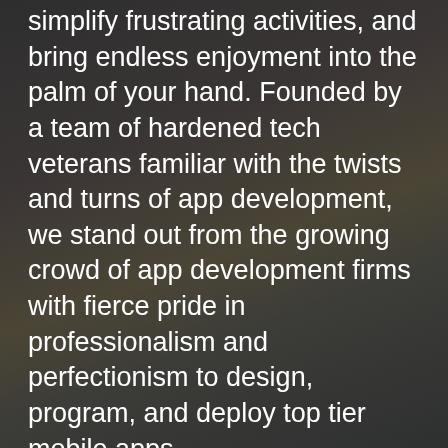simplify frustrating activities, and bring endless enjoyment into the palm of your hand. Founded by a team of hardened tech veterans familiar with the twists and turns of app development, we stand out from the growing crowd of app development firms with fierce pride in professionalism and perfectionism to design, program, and deploy top tier mobile apps.
We've helped clients across myriad industries at different points in their development. From VC-backed startups to Fortune 500 companies and burgeoning entrepreneurs, our teams have the ideal